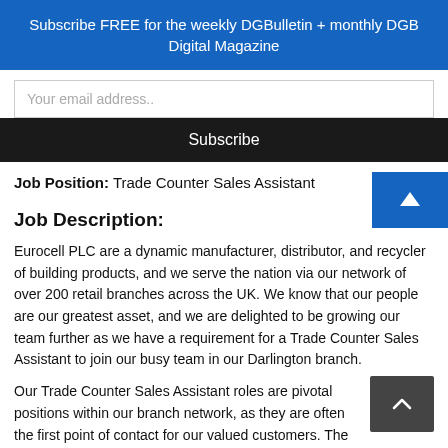Subscribe FREE for the weekly DGBulletin + monthly DGB Digital Magazine
Your email address..
Subscribe
Job Position: Trade Counter Sales Assistant
Job Description:
Eurocell PLC are a dynamic manufacturer, distributor, and recycler of building products, and we serve the nation via our network of over 200 retail branches across the UK.  We know that our people are our greatest asset, and we are delighted to be growing our team further as we have a requirement for a Trade Counter Sales Assistant to join our busy team in our Darlington branch.
Our Trade Counter Sales Assistant roles are pivotal positions within our branch network, as they are often the first point of contact for our valued customers. The role is busy and varied, and every day can be different.
There are 3 elements to the Trade Counter Sales Assistant role: